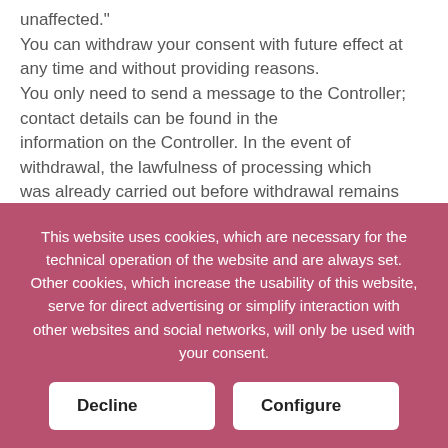unaffected." You can withdraw your consent with future effect at any time and without providing reasons. You only need to send a message to the Controller; contact details can be found in the information on the Controller. In the event of withdrawal, the lawfulness of processing which was already carried out before withdrawal remains unaffected. If necessary for the purpose of answering your enquiry/issue we may transfer your personal data, within the statutory provisions, to third parties. In the
This website uses cookies, which are necessary for the technical operation of the website and are always set. Other cookies, which increase the usability of this website, serve for direct advertising or simplify interaction with other websites and social networks, will only be used with your consent.
Decline
Configure